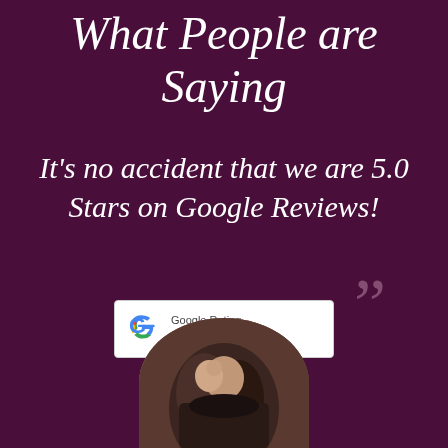What People are Saying
It's no accident that we are 5.0 Stars on Google Reviews!
[Figure (logo): Google Rating badge showing 5.0 stars with five gold star icons and the Google G logo]
[Figure (photo): Circular cropped photo of a couple, partially visible at the bottom of the page]